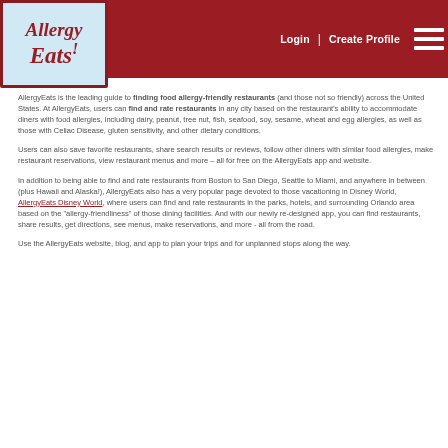Login | Create Profile
[Figure (logo): AllergyEats logo - stylized text on light blue background with red border]
AllergyEats is the leading guide to finding food allergy-friendly restaurants (and those not so friendly) across the United States. At AllergyEats, users can find and rate restaurants in any city based on the restaurant’s ability to accommodate diners with food allergies, including dairy, peanut, tree nut, fish, seafood, soy, sesame, wheat and egg allergies, as well as those with Celiac Disease, gluten sensitivity, and other dietary conditions.
Users can also save favorite restaurants, share search results or reviews, follow other diners with similar food allergies, make restaurant reservations, view restaurant menus and more – all for free on the AllergyEats app and website.
In addition to being able to find and rate restaurants from Boston to San Diego, Seattle to Miami, and anywhere in between (plus Hawaii and Alaska!), AllergyEats also has a very popular page devoted to those vacationing in Disney World, AllergyEats Disney World, where users can find and rate restaurants in the parks, hotels, and surrounding Orlando area based on the “allergy-friendliness” of those dining facilities. And with our newly re-designed app, you can find restaurants, share results, get directions, see menus, make reservations, and more - all from the road.
Use the AllergyEats website, blog, and app to plan your trips and for unplanned stops along the way.